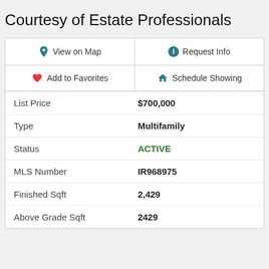Courtesy of Estate Professionals
| View on Map | Request Info |
| Add to Favorites | Schedule Showing |
| List Price | $700,000 |
| Type | Multifamily |
| Status | ACTIVE |
| MLS Number | IR968975 |
| Finished Sqft | 2,429 |
| Above Grade Sqft | 2429 |